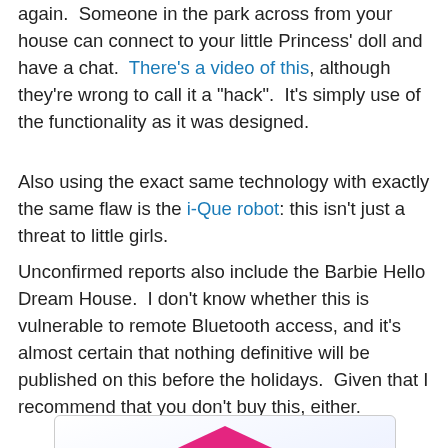again. Someone in the park across from your house can connect to your little Princess' doll and have a chat. There's a video of this, although they're wrong to call it a "hack". It's simply use of the functionality as it was designed.
Also using the exact same technology with exactly the same flaw is the i-Que robot: this isn't just a threat to little girls.
Unconfirmed reports also include the Barbie Hello Dream House. I don't know whether this is vulnerable to remote Bluetooth access, and it's almost certain that nothing definitive will be published on this before the holidays. Given that I recommend that you don't buy this, either.
[Figure (photo): Photo of the Barbie Hello Dream House toy — a large multi-room dollhouse with pink roof, featuring Barbie dolls, furniture, a staircase, and colorful lighting.]